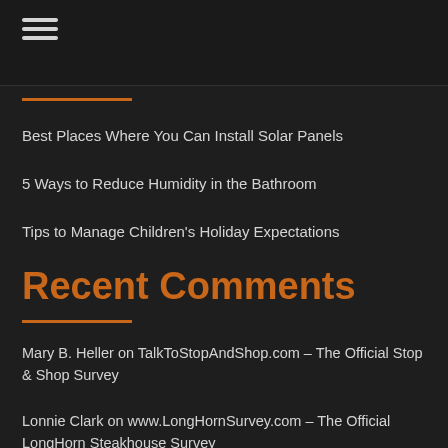☰ (hamburger menu)
Best Places Where You Can Install Solar Panels
5 Ways to Reduce Humidity in the Bathroom
Tips to Manage Children's Holiday Expectations
Recent Comments
Mary B. Heller on TalkToStopAndShop.com – The Official Stop & Shop Survey
Lonnie Clark on www.LongHornSurvey.com – The Official LongHorn Steakhouse Survey